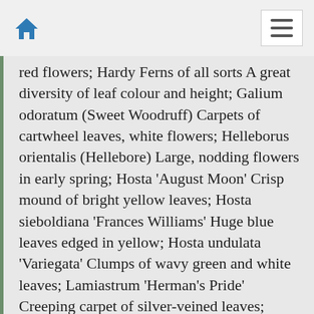red flowers; Hardy Ferns of all sorts A great diversity of leaf colour and height; Galium odoratum (Sweet Woodruff) Carpets of cartwheel leaves, white flowers; Helleborus orientalis (Hellebore) Large, nodding flowers in early spring; Hosta 'August Moon' Crisp mound of bright yellow leaves; Hosta sieboldiana 'Frances Williams' Huge blue leaves edged in yellow; Hosta undulata 'Variegata' Clumps of wavy green and white leaves; Lamiastrum 'Herman's Pride' Creeping carpet of silver-veined leaves; Lamium maculatum Carpets of white or white striped leaves; Ligularia dentata 'Desdemona' Tall purple-leaved clump, orange flowers; Lysimachia nummularia 'Aurea' Creeping mat of bright yellow leaves; Mentha requienii (Corsican mint) Strongly scented flat green mat. Self-